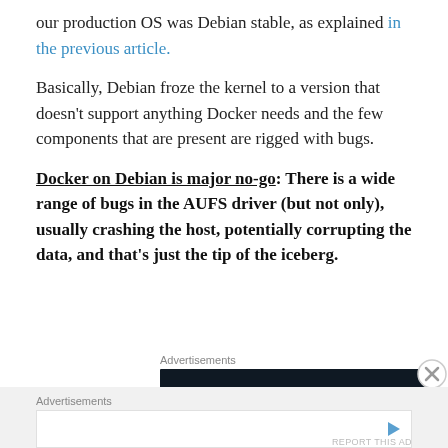our production OS was Debian stable, as explained in the previous article.
Basically, Debian froze the kernel to a version that doesn't support anything Docker needs and the few components that are present are rigged with bugs.
Docker on Debian is major no-go: There is a wide range of bugs in the AUFS driver (but not only), usually crashing the host, potentially corrupting the data, and that's just the tip of the iceberg.
[Figure (other): Advertisement banner: dark navy background with text 'Opinions. We all have them!' and WordPress and Dot logos]
[Figure (other): Second advertisement placeholder with play/video icon on white background]